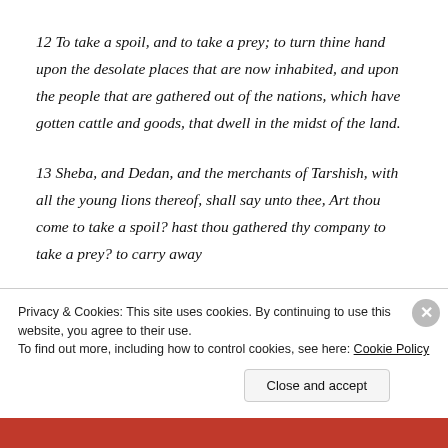12 To take a spoil, and to take a prey; to turn thine hand upon the desolate places that are now inhabited, and upon the people that are gathered out of the nations, which have gotten cattle and goods, that dwell in the midst of the land.
13 Sheba, and Dedan, and the merchants of Tarshish, with all the young lions thereof, shall say unto thee, Art thou come to take a spoil? hast thou gathered thy company to take a prey? to carry away
Privacy & Cookies: This site uses cookies. By continuing to use this website, you agree to their use.
To find out more, including how to control cookies, see here: Cookie Policy